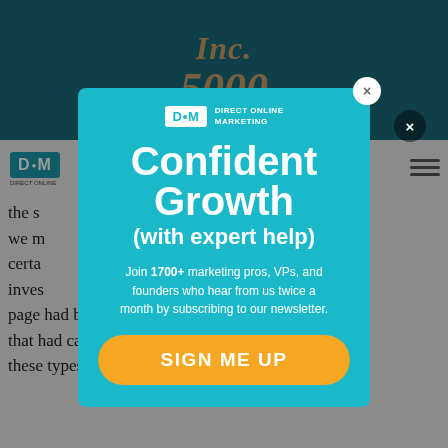[Figure (logo): Inc. 5000 logo in teal header background, gold/bronze colored italic serif text]
[Figure (logo): Direct Online Marketing (DOM) logo in article area, teal square with D.M letters]
the s... and we m... certa... inves... e page had been replaced by the old version and that had caused the rankings drop. Thankfully, these types of things are easy to sort out. In this
[Figure (infographic): Modal popup advertisement for Direct Online Marketing newsletter. Teal background with white DOM logo, headline 'Confident Growth (with expert help)', body text 'Join 1700+ marketing pros, VPs, and founders who hear from us twice a month by subscribing to our newsletter.', orange SIGN ME UP button. White close X button in top right corner.]